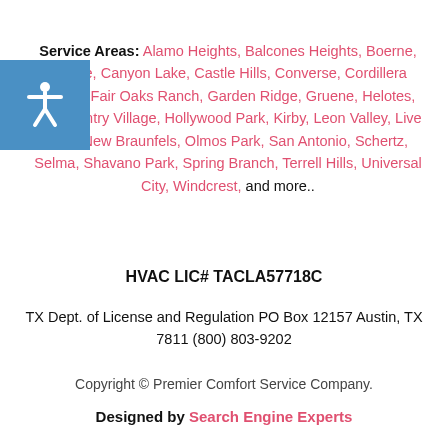Service Areas: Alamo Heights, Balcones Heights, Boerne, Cibolo Verde, Canyon Lake, Castle Hills, Converse, Cordillera Ranch, Fair Oaks Ranch, Garden Ridge, Gruene, Helotes, Hill Country Village, Hollywood Park, Kirby, Leon Valley, Live Oak, New Braunfels, Olmos Park, San Antonio, Schertz, Selma, Shavano Park, Spring Branch, Terrell Hills, Universal City, Windcrest, and more..
HVAC LIC# TACLA57718C
TX Dept. of License and Regulation PO Box 12157 Austin, TX 7811 (800) 803-9202
Copyright © Premier Comfort Service Company.
Designed by Search Engine Experts